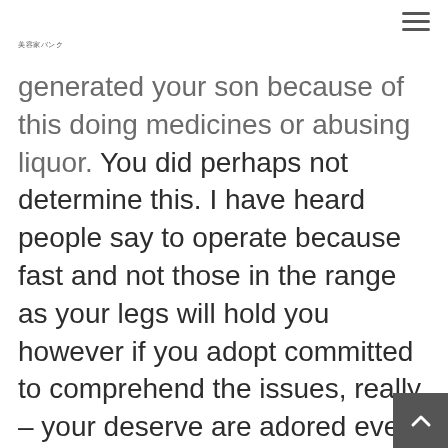美容家バンク
generated your son because of this doing medicines or abusing liquor. You did perhaps not determine this. I have heard people say to operate because fast and not those in the range as your legs will hold you however if you adopt committed to comprehend the issues, really – your deserve are adored even if you can not give back toward amount to which you can get. Not everybody has the use with all of to stay this lds singles type of connection. Kindly don't overcome yourself up over. You may be unique! Prayers.